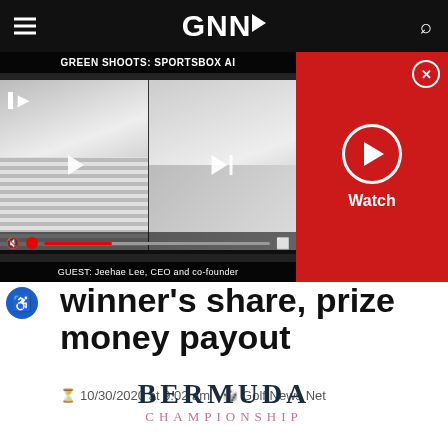GNN (Golf News Net) navigation bar
[Figure (screenshot): Video player showing 'GREEN SHOOTS: SPORTSBOX AI' with two video thumbnails of people, playback controls, and red Watch panel with play button and close button. Guest label: 'GUEST: Jeehae Lee, CEO and co-founder']
winner's share, prize money payout
10/30/2020 at 9:02 am  Golf News Net
[Figure (logo): BERMUDA CHAMPIONSHIP logo with dark navy serif text for BERMUDA and pink/mauve text for CHAMPIONSHIP]